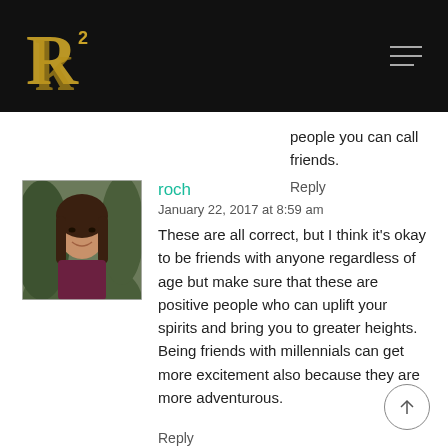R2K logo and navigation header
people you can call friends.
Reply
[Figure (photo): Avatar photo of commenter 'roch', a woman with long dark hair]
roch
January 22, 2017 at 8:59 am
These are all correct, but I think it's okay to be friends with anyone regardless of age but make sure that these are positive people who can uplift your spirits and bring you to greater heights. Being friends with millennials can get more excitement also because they are more adventurous.
Reply